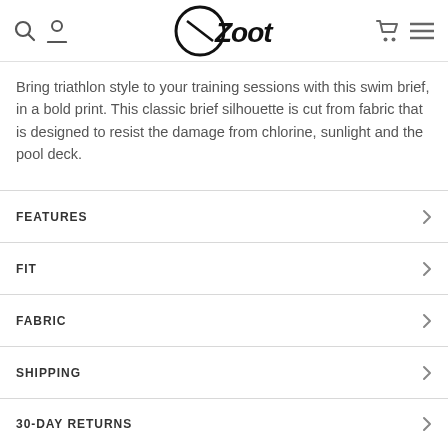Zoot Sports
Bring triathlon style to your training sessions with this swim brief, in a bold print. This classic brief silhouette is cut from fabric that is designed to resist the damage from chlorine, sunlight and the pool deck.
FEATURES
FIT
FABRIC
SHIPPING
30-DAY RETURNS